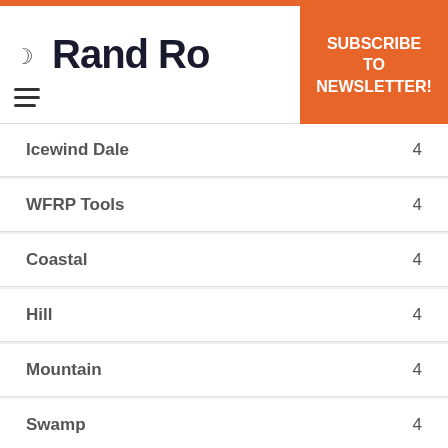Rand Ro
SUBSCRIBE TO NEWSLETTER!
Icewind Dale  4
WFRP Tools  4
Coastal  4
Hill  4
Mountain  4
Swamp  4
Visual Tools Interview  4
Procgen Interview  ↑
Dungeon Adventures  4